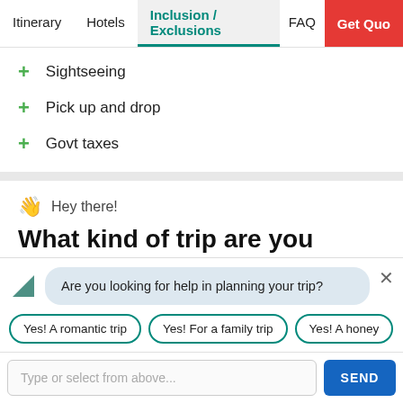Itinerary | Hotels | Inclusion / Exclusions | FAQ | Get Quo...
+ Sightseeing
+ Pick up and drop
+ Govt taxes
👋 Hey there!
What kind of trip are you planning for?
Are you looking for help in planning your trip?
Yes! A romantic trip | Yes! For a family trip | Yes! A honey...
Type or select from above... SEND